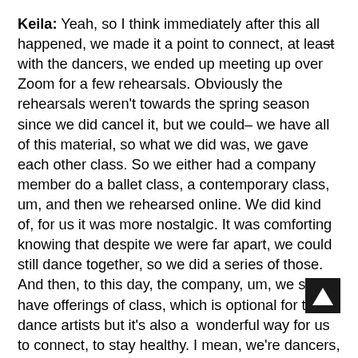Keila: Yeah, so I think immediately after this all happened, we made it a point to connect, at least with the dancers, we ended up meeting up over Zoom for a few rehearsals. Obviously the rehearsals weren't towards the spring season since we did cancel it, but we could– we have all of this material, so what we did was, we gave each other class. So we either had a company member do a ballet class, a contemporary class, um, and then we rehearsed online. We did kind of, for us it was more nostalgic. It was comforting knowing that despite we were far apart, we could still dance together, so we did a series of those. And then, to this day, the company, um, we still have offerings of class, which is optional for the dance artists but it's also a  wonderful way for us to connect, to stay healthy. I mean, we're dancers, we love moving.
Raina: Mmhm.
Keila: So finding ways to do that together because